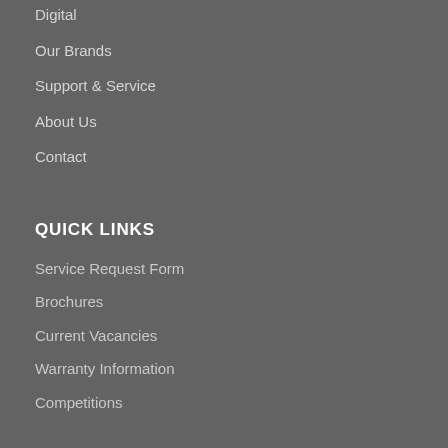Digital
Our Brands
Support & Service
About Us
Contact
QUICK LINKS
Service Request Form
Brochures
Current Vacancies
Warranty Information
Competitions